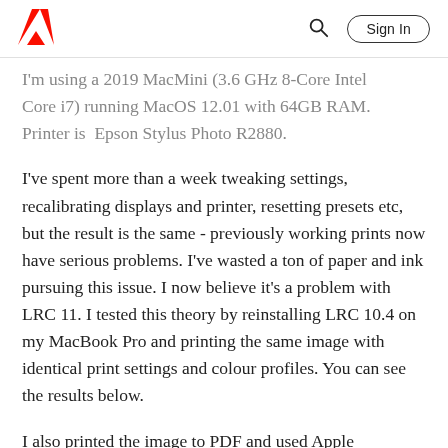Adobe | Sign In
I'm using a 2019 MacMini (3.6 GHz 8-Core Intel Core i7) running MacOS 12.01 with 64GB RAM. Printer is  Epson Stylus Photo R2880.
I've spent more than a week tweaking settings, recalibrating displays and printer, resetting presets etc, but the result is the same - previously working prints now have serious problems. I've wasted a ton of paper and ink pursuing this issue. I now believe it's a problem with LRC 11. I tested this theory by reinstalling LRC 10.4 on my MacBook Pro and printing the same image with identical print settings and colour profiles. You can see the results below.
I also printed the image to PDF and used Apple